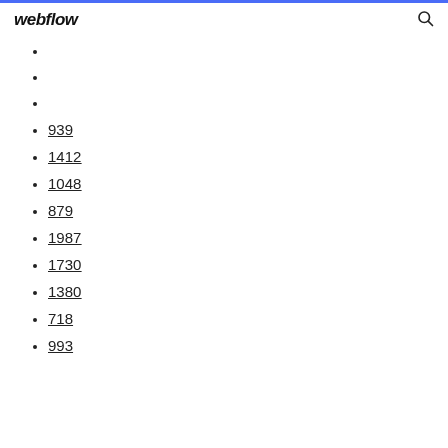webflow
939
1412
1048
879
1987
1730
1380
718
993